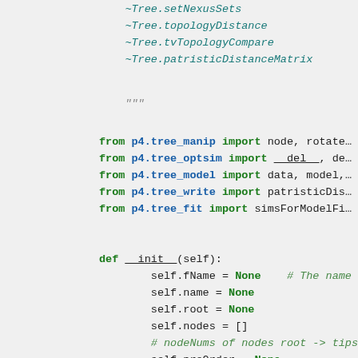~Tree.setNexusSets
~Tree.topologyDistance
~Tree.tvTopologyCompare
~Tree.patristicDistanceMatrix
"""
from p4.tree_manip import node, rotate...
from p4.tree_optsim import __del__, de...
from p4.tree_model import data, model,...
from p4.tree_write import patristicDis...
from p4.tree_fit import simsForModelFi...
def __init__(self):
    self.fName = None   # The name of
    self.name = None
    self.root = None
    self.nodes = []
    # nodeNums of nodes root -> tips
    self.preOrder = None
    # nodeNums of nodes tips -> root